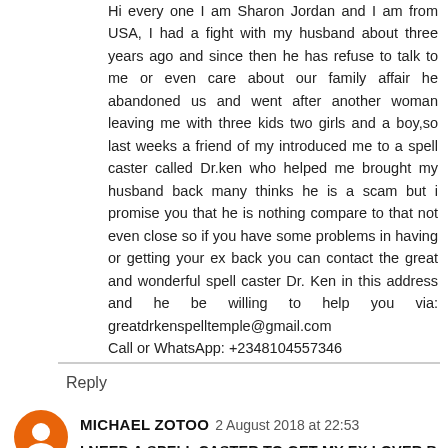Hi every one I am Sharon Jordan and I am from USA, I had a fight with my husband about three years ago and since then he has refuse to talk to me or even care about our family affair he abandoned us and went after another woman leaving me with three kids two girls and a boy,so last weeks a friend of my introduced me to a spell caster called Dr.ken who helped me brought my husband back many thinks he is a scam but i promise you that he is nothing compare to that not even close so if you have some problems in having or getting your ex back you can contact the great and wonderful spell caster Dr. Ken in this address and he be willing to help you via: greatdrkenspelltemple@gmail.com
Call or WhatsApp: +2348104557346
Reply
MICHAEL ZOTOO  2 August 2018 at 22:53
I NEED A SPELL CASTER TO GET MY EX LOVER BACK